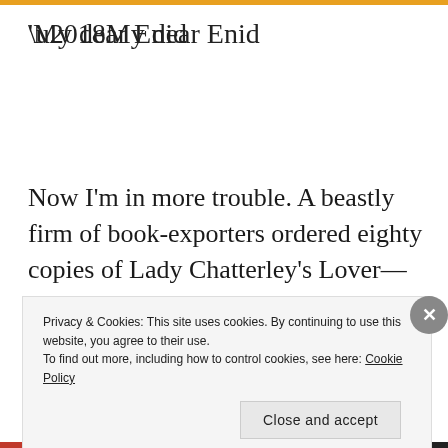‘My dear Enid
Now I’m in more trouble. A beastly firm of book-exporters ordered eighty copies of Lady Chatterley’s Lover—now it turns out that they have
Privacy & Cookies: This site uses cookies. By continuing to use this website, you agree to their use.
To find out more, including how to control cookies, see here: Cookie Policy
Close and accept